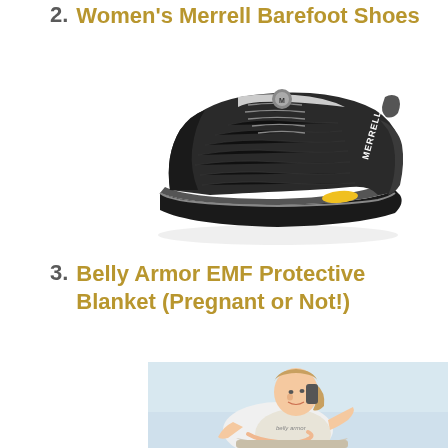2. Women's Merrell Barefoot Shoes
[Figure (photo): Black Merrell barefoot shoe (minimalist running shoe) with lace-up front, mesh upper, and yellow accent on the sole, shown on white background.]
3. Belly Armor EMF Protective Blanket (Pregnant or Not!)
[Figure (photo): Pregnant woman sitting in a chair, talking on a phone and looking down at her belly, with a blanket draped over her lap, against a light blue background.]